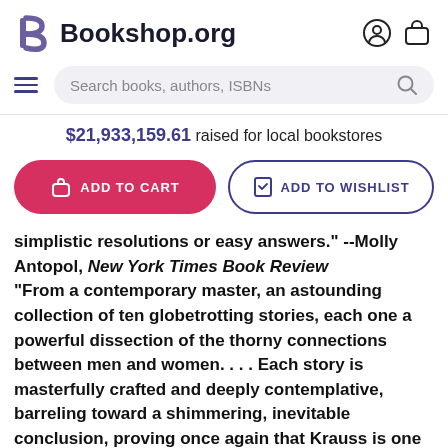Bookshop.org
$21,933,159.61 raised for local bookstores
ADD TO CART | ADD TO WISHLIST
simplistic resolutions or easy answers." --Molly Antopol, New York Times Book Review
"From a contemporary master, an astounding collection of ten globetrotting stories, each one a powerful dissection of the thorny connections between men and women. . . . Each story is masterfully crafted and deeply contemplative, barreling toward a shimmering, inevitable conclusion, proving once again that Krauss is one of our most formidable talents in fiction." --Esquire
In one of her strongest works of fiction yet, Nicole Krauss